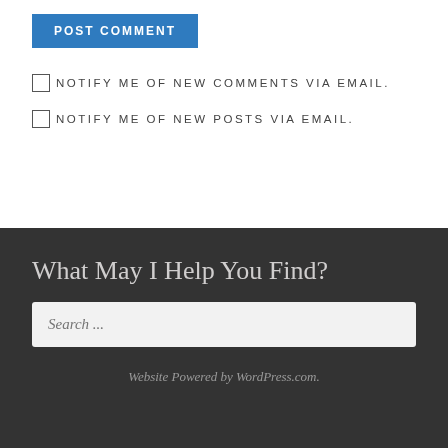POST COMMENT
NOTIFY ME OF NEW COMMENTS VIA EMAIL.
NOTIFY ME OF NEW POSTS VIA EMAIL.
What May I Help You Find?
Search ...
Website Powered by WordPress.com.